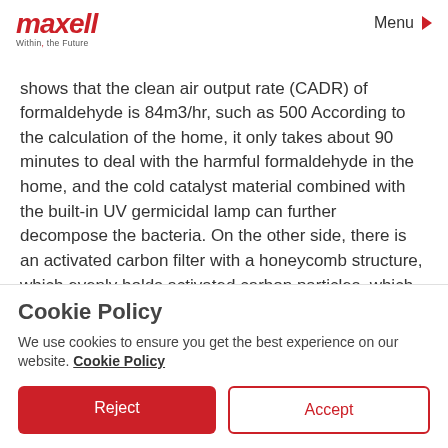maxell — Within, the Future | Menu
shows that the clean air output rate (CADR) of formaldehyde is 84m3/hr, such as 500 According to the calculation of the home, it only takes about 90 minutes to deal with the harmful formaldehyde in the home, and the cold catalyst material combined with the built-in UV germicidal lamp can further decompose the bacteria. On the other side, there is an activated carbon filter with a honeycomb structure, which evenly holds activated carbon particles, which can effectively
Cookie Policy
We use cookies to ensure you get the best experience on our website. Cookie Policy
Reject
Accept